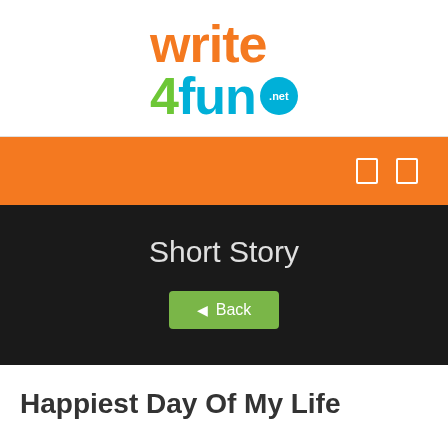[Figure (logo): Write4Fun.net logo with orange 'write', green '4', cyan 'fun' and cyan circular '.net' badge]
Short Story
Back
Happiest Day Of My Life